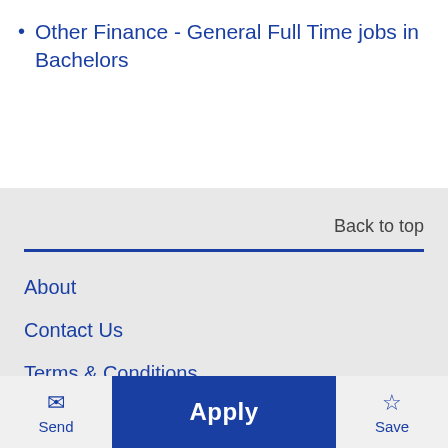Other Finance - General Full Time jobs in Bachelors
Back to top
About
Contact Us
Terms & Conditions
Privacy Policy
Send | Apply | Save